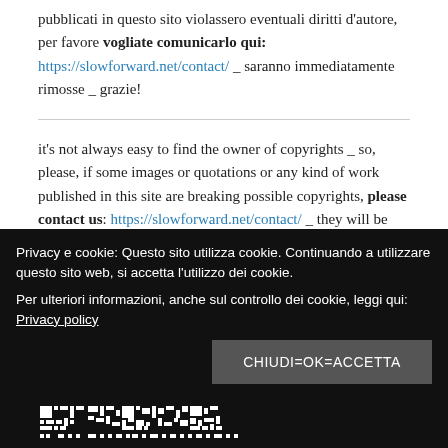pubblicati in questo sito violassero eventuali diritti d'autore, per favore vogliate comunicarlo qui: https://slowforward.net/contact/ _ saranno immediatamente rimosse _ grazie!
it's not always easy to find the owner of copyrights _ so, please, if some images or quotations or any kind of work published in this site are breaking possible copyrights, please contact us: https://slowforward.net/contact/ _ they will be immediately removed _ thank you!
Privacy e cookie: Questo sito utilizza cookie. Continuando a utilizzare questo sito web, si accetta l'utilizzo dei cookie. Per ulteriori informazioni, anche sul controllo dei cookie, leggi qui: Privacy policy
CHIUDI=OK=ACCETTA